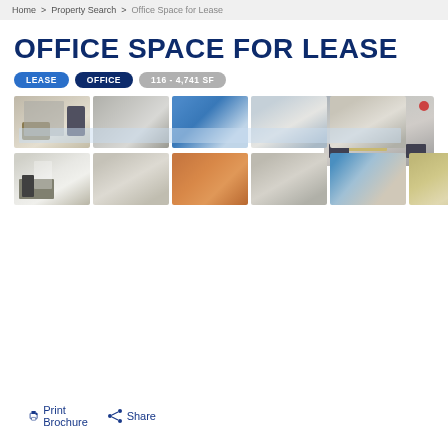Home > Property Search > Office Space for Lease
OFFICE SPACE FOR LEASE
LEASE   OFFICE   116 - 4,741 SF
[Figure (photo): Main large thumbnail: conference/meeting room with table and chairs]
[Figure (photo): Gallery thumbnail 1: office kitchenette/work area with desk and chair]
[Figure (photo): Gallery thumbnail 2: room with curtain/partition]
[Figure (photo): Gallery thumbnail 3: open office space with blue accent wall]
[Figure (photo): Gallery thumbnail 4: empty room with windows]
[Figure (photo): Gallery thumbnail 5: empty room with hardwood floor]
[Figure (photo): Gallery thumbnail 6: kitchen with white cabinets and appliances]
[Figure (photo): Gallery thumbnail 7: empty corner room]
[Figure (photo): Gallery thumbnail 8: orange-painted bathroom/utility room]
[Figure (photo): Gallery thumbnail 9: bathroom with sink]
[Figure (photo): Gallery thumbnail 10: doorway/entrance view]
[Figure (photo): Gallery thumbnail 11: kitchen with wood cabinets]
[Figure (photo): Gallery thumbnail 12: long open room/hallway]
Print Brochure   Share